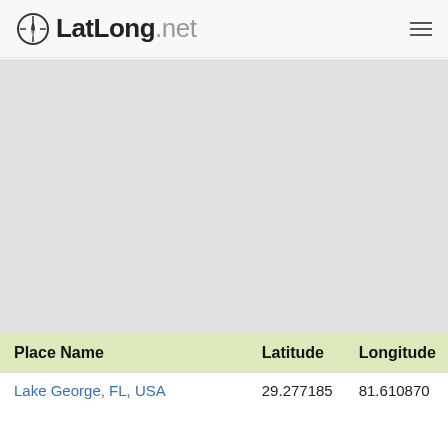LatLong.net
[Figure (map): Map area placeholder, light gray background representing an embedded map]
| Place Name | Latitude | Longitude |
| --- | --- | --- |
| Lake George, FL, USA | 29.277185 | 81.610870 |